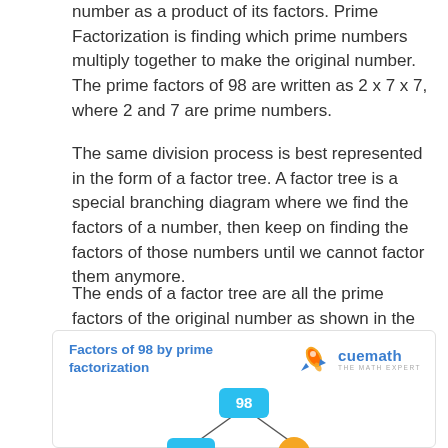number as a product of its factors. Prime Factorization is finding which prime numbers multiply together to make the original number. The prime factors of 98 are written as 2 x 7 x 7, where 2 and 7 are prime numbers.
The same division process is best represented in the form of a factor tree. A factor tree is a special branching diagram where we find the factors of a number, then keep on finding the factors of those numbers until we cannot factor them anymore.
The ends of a factor tree are all the prime factors of the original number as shown in the image
[Figure (illustration): Factor tree diagram showing 98 split into 49 and 2, with a Cuemath logo and title 'Factors of 98 by prime factorization']